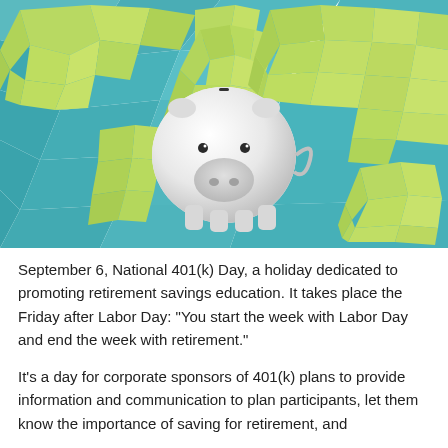[Figure (illustration): A white ceramic piggy bank with a coin slot on top, centered over a low-poly stylized world map illustration. The map shows continents in lime green polygonal shapes on a teal/blue polygonal background. The piggy bank is viewed from slightly above, showing its snout, two black dot eyes, and a coin slot on top.]
September 6, National 401(k) Day, a holiday dedicated to promoting retirement savings education. It takes place the Friday after Labor Day: "You start the week with Labor Day and end the week with retirement."
It's a day for corporate sponsors of 401(k) plans to provide information and communication to plan participants, let them know the importance of saving for retirement, and